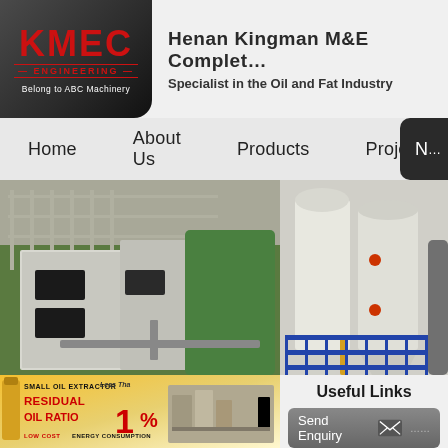[Figure (logo): KMEC Engineering logo - black rounded square with red KMEC text, engineering subtitle, and 'Belong to ABC Machinery' tagline]
Henan Kingman M&E Complete Plant Co., Ltd
Specialist in the Oil and Fat Industry
Home | About Us | Products | Projects | N...
[Figure (photo): Industrial oil processing plant equipment - large metal tanks, silos, and processing units in an industrial facility]
[Figure (infographic): Small oil extractor promotional image - yellow background with text: SMALL OIL EXTRACTOR, Less Than, RESIDUAL OIL RATIO 1%, LOW COST, ENERGY CONSUMPTION]
Useful Links
Send Enquiry